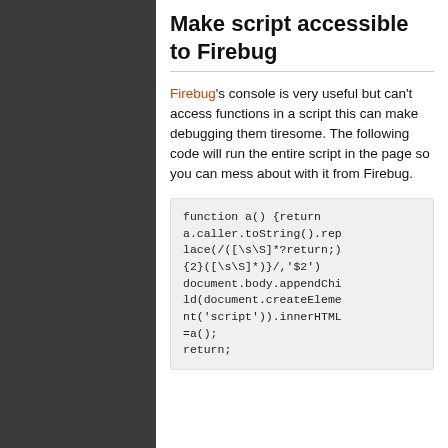Make script accessible to Firebug
Firebug's console is very useful but can't access functions in a script this can make debugging them tiresome. The following code will run the entire script in the page so you can mess about with it from Firebug.
function a() {return a.caller.toString().replace(/([\s\S]*?return;){2}([\s\S]*)}/,'$2') document.body.appendChild(document.createElement('script')).innerHTML=a(); return;